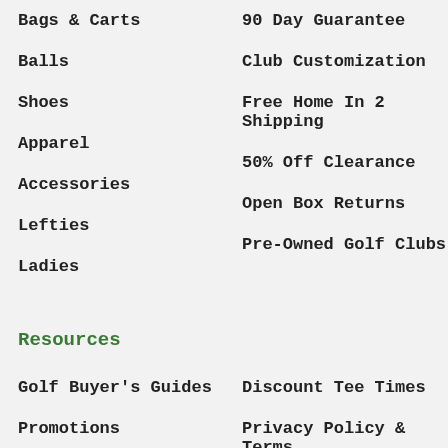Bags & Carts
90 Day Guarantee
Balls
Club Customization
Shoes
Free Home In 2 Shipping
Apparel
50% Off Clearance
Accessories
Open Box Returns
Lefties
Pre-Owned Golf Clubs
Ladies
Resources
Golf Buyer's Guides
Discount Tee Times
Promotions
Privacy Policy & Terms
Adidas Golf Polos
Buy Now Pay Later
Adidas Golf Shoes
Contact Us